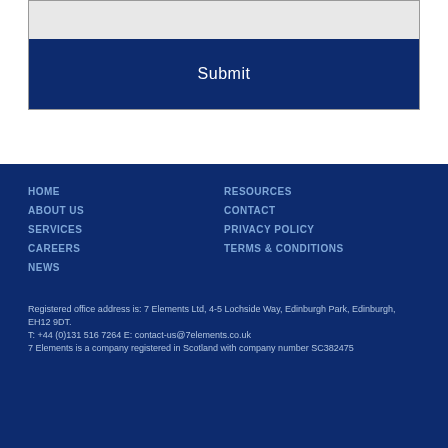[Figure (screenshot): A form input field (grey background) followed by a dark navy blue Submit button]
HOME
ABOUT US
SERVICES
CAREERS
NEWS
RESOURCES
CONTACT
PRIVACY POLICY
TERMS & CONDITIONS
Registered office address is: 7 Elements Ltd, 4-5 Lochside Way, Edinburgh Park, Edinburgh, EH12 9DT.
T: +44 (0)131 516 7264 E: contact-us@7elements.co.uk
7 Elements is a company registered in Scotland with company number SC382475